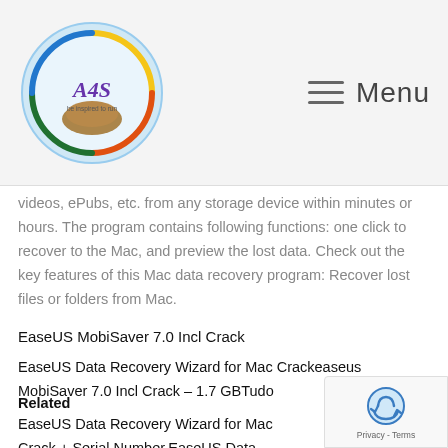Menu
videos, ePubs, etc. from any storage device within minutes or hours. The program contains following functions: one click to recover to the Mac, and preview the lost data. Check out the key features of this Mac data recovery program: Recover lost files or folders from Mac.
EaseUS MobiSaver 7.0 Incl Crack
EaseUS Data Recovery Wizard for Mac Crackeaseus MobiSaver 7.0 Incl Crack – 1.7 GBTudo
Related
EaseUS Data Recovery Wizard for Mac Crack + Serial Number.EaseUS Data Recovery Wizard for Mac Crack is a powerful data recovery tools of Mac OS. You can recover all files from Mac OS like Computer, and other devices.